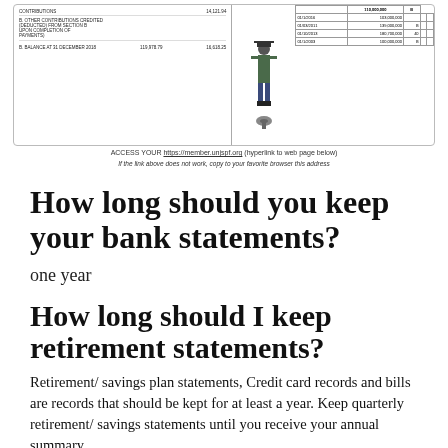[Figure (other): Cropped image of a retirement/savings fund statement document with columns for contributions and balances, alongside a decorative soldier illustration and a table with dates and amounts. Balance at 31 December 2018 shown as 119,978.79 and 16,618.25.]
ACCESS YOUR https://member.unjspf.org (hyperlink to web page below)
If the link above does not work, copy to your favorite browser this address
How long should you keep your bank statements?
one year
How long should I keep retirement statements?
Retirement/ savings plan statements, Credit card records and bills are records that should be kept for at least a year. Keep quarterly retirement/ savings statements until you receive your annual summary.